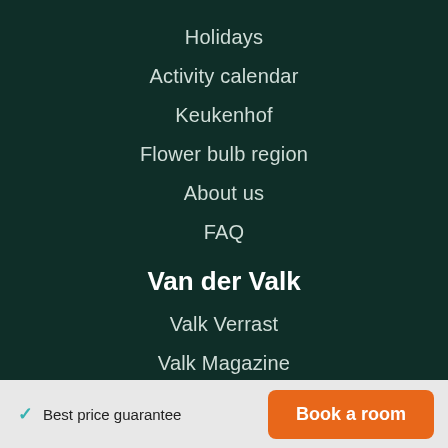Holidays
Activity calendar
Keukenhof
Flower bulb region
About us
FAQ
Van der Valk
Valk Verrast
Valk Magazine
✓ Best price guarantee
Book a room